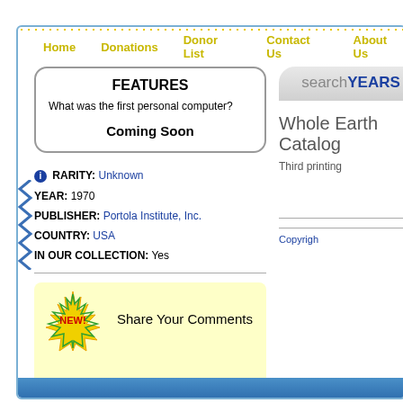Home | Donations | Donor List | Contact Us | About Us
FEATURES
What was the first personal computer?
Coming Soon
RARITY: Unknown
YEAR: 1970
PUBLISHER: Portola Institute, Inc.
COUNTRY: USA
IN OUR COLLECTION: Yes
Share Your Comments
searchYEARS
Whole Earth Catalog
Third printing
Copyright